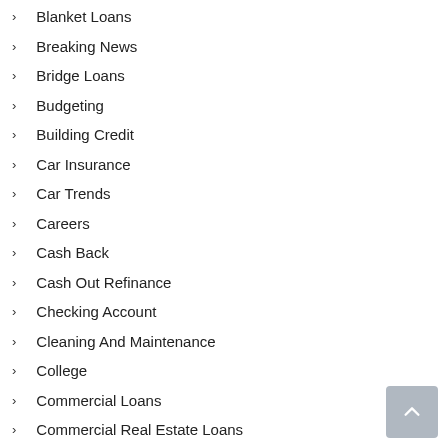Blanket Loans
Breaking News
Bridge Loans
Budgeting
Building Credit
Car Insurance
Car Trends
Careers
Cash Back
Cash Out Refinance
Checking Account
Cleaning And Maintenance
College
Commercial Loans
Commercial Real Estate Loans
Commercial Refinance Loans